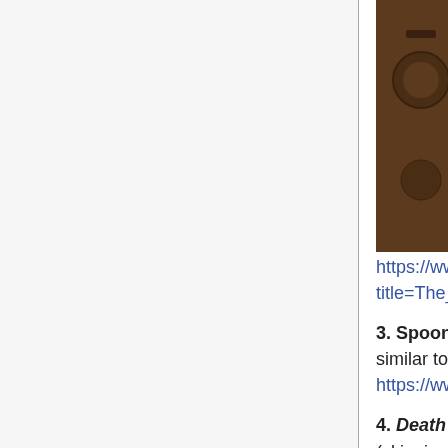[Figure (photo): A rifle or musket leaning against a wall with decorative items, partially visible at top of page]
profound card game invented by game theorist Merrill Flood at Princeton in the 1950s. You bid for cards simultaneously, one at a time, using one suit as prizes and the others for your currency. https://www.rasmusen.org/rasmapedia/index.php?title=The_Goofspiel_Card_Game®.
3. Spoons. A hilarious pay-attention card-passing game good for a large group, similar to Pit. https://www.wikihow.com/Play-Spoons-(Card-Game)®
4. Death in Paradise (2011-present) and Psych® (2006-2014), (skipping season 1), comedy